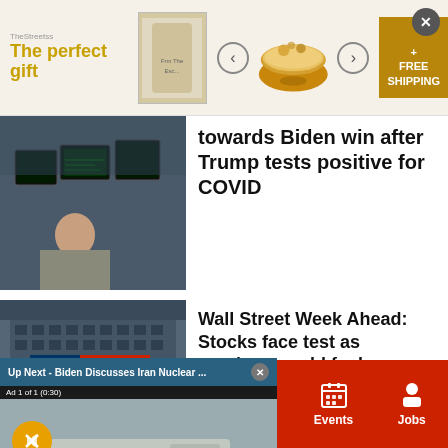[Figure (screenshot): Advertisement banner showing 'The perfect gift' with food image, navigation arrows, bowl image, 35% free shipping offer, and close button]
[Figure (photo): Photo of a person at a trading desk with multiple monitors showing financial data]
towards Biden win after Trump tests positive for COVID
[Figure (photo): Photo of Wall Street building exterior with large American flag]
Wall Street Week Ahead: Stocks face test as earnings could fuel – or more virus
[Figure (screenshot): Video overlay: 'Up Next - Biden Discusses Iran Nuclear ...' with ad label 'Ad 1 of 1 (0:30)' and lower third caption 'BIDEN, ALLIES DISCUSS IRAN NUCLEAR DEAL']
Sections  Contact  Home Pros  Events  Jobs